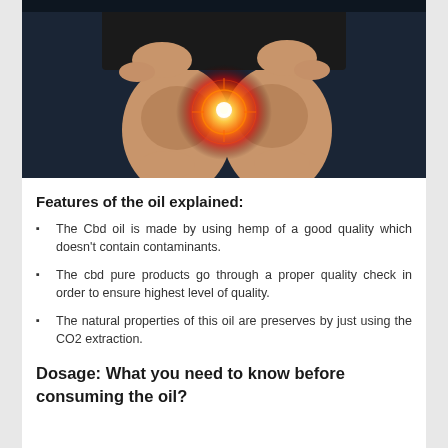[Figure (photo): Photo of person's knees being held by hands, with a glowing red/orange light at one knee joint indicating pain or inflammation, dark background]
Features of the oil explained:
The Cbd oil is made by using hemp of a good quality which doesn't contain contaminants.
The cbd pure products go through a proper quality check in order to ensure highest level of quality.
The natural properties of this oil are preserves by just using the CO2 extraction.
Dosage: What you need to know before consuming the oil?